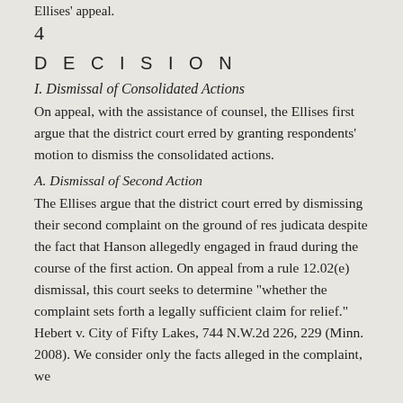Ellises' appeal.
4
D E C I S I O N
I. Dismissal of Consolidated Actions
On appeal, with the assistance of counsel, the Ellises first argue that the district court erred by granting respondents' motion to dismiss the consolidated actions.
A. Dismissal of Second Action
The Ellises argue that the district court erred by dismissing their second complaint on the ground of res judicata despite the fact that Hanson allegedly engaged in fraud during the course of the first action. On appeal from a rule 12.02(e) dismissal, this court seeks to determine "whether the complaint sets forth a legally sufficient claim for relief." Hebert v. City of Fifty Lakes, 744 N.W.2d 226, 229 (Minn. 2008). We consider only the facts alleged in the complaint, we